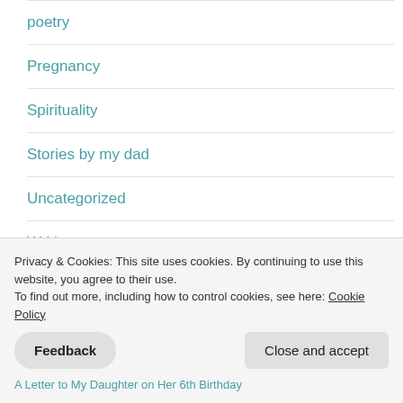poetry
Pregnancy
Spirituality
Stories by my dad
Uncategorized
Writing
Privacy & Cookies: This site uses cookies. By continuing to use this website, you agree to their use.
To find out more, including how to control cookies, see here: Cookie Policy
Feedback
Close and accept
A Letter to My Daughter on Her 6th Birthday